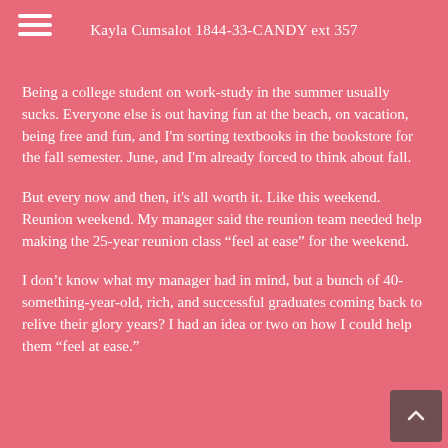Kayla Cumsalot 1844-33-CANDY ext 357
Being a college student on work-study in the summer usually sucks. Everyone else is out having fun at the beach, on vacation, being free and fun, and I'm sorting textbooks in the bookstore for the fall semester. June, and I'm already forced to think about fall.
But every now and then, it's all worth it. Like this weekend. Reunion weekend. My manager said the reunion team needed help making the 25-year reunion class “feel at ease” for the weekend.
I don’t know what my manager had in mind, but a bunch of 40-something-year-old, rich, and successful graduates coming back to relive their glory years? I had an idea or two on how I could help them “feel at ease.”